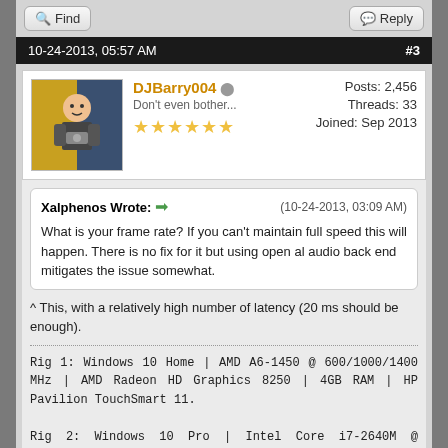Find | Reply
10-24-2013, 05:57 AM  #3
DJBarry004 | Posts: 2,456 | Threads: 33 | Joined: Sep 2013 | Don't even bother...
Xalphenos Wrote: (10-24-2013, 03:09 AM) What is your frame rate? If you can't maintain full speed this will happen. There is no fix for it but using open al audio back end mitigates the issue somewhat.
^ This, with a relatively high number of latency (20 ms should be enough).
Rig 1: Windows 10 Home | AMD A6-1450 @ 600/1000/1400 MHz | AMD Radeon HD Graphics 8250 | 4GB RAM | HP Pavilion TouchSmart 11.

Rig 2: Windows 10 Pro | Intel Core i7-2640M @ 780/2800/3500 MHz | Intel HD 3000 Mobile | 8GB RAM | Dell Latitude 6320.
Find | Reply
10-25-2013, 12:28 AM  #4